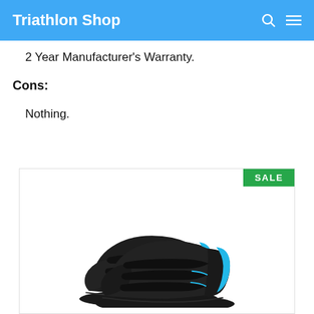Triathlon Shop
2 Year Manufacturer's Warranty.
Cons:
Nothing.
[Figure (photo): A pair of black cycling/triathlon shoes with blue accents and velcro straps, with a green SALE badge in the top-right corner of the product card.]